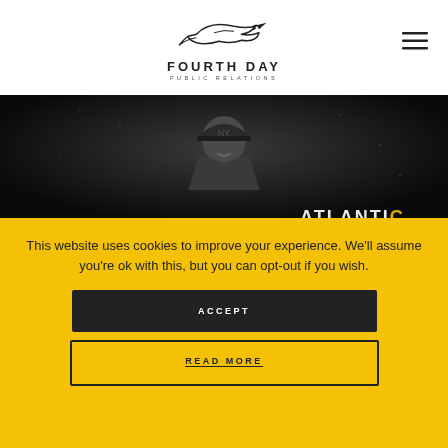[Figure (logo): Fourth Day Public Relations logo with bird icon above text FOURTH DAY PUBLIC RELATIONS]
[Figure (photo): Black and white photograph of a smiling person wearing a New York Yankees cap, with partial text ATLANTIC visible at bottom right]
This website uses cookies to improve your experience. We'll assume you're ok with this, but you can opt-out if you wish.
ACCEPT
READ MORE